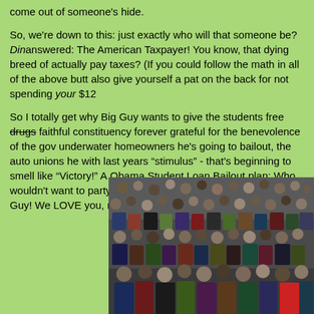come out of someone's hide.
So, we're down to this: just exactly who will that someone be? Ding, ding, ding! answered: The American Taxpayer! You know, that dying breed of people who actually pay taxes? (If you could follow the math in all of the above give yourself a butt also give yourself a pat on the back for not spending your $12...
So I totally get why Big Guy wants to give the students free drugs [strikethrough] faithful constituency forever grateful for the benevolence of the gov... underwater homeowners he's going to bailout, the auto unions he... with last years "stimulus" - that's beginning to smell like "Victory!" A... Obama Student Loan Bailout plan: Who wouldn't want to party for... government's dime? Way to go Big Guy! We LOVE you, man!
[Figure (photo): A large crowd of people packed together, photographed from above at what appears to be an outdoor event or rally.]